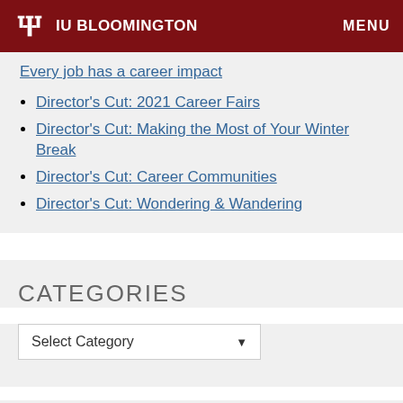IU BLOOMINGTON  MENU
Every job has a career impact
Director's Cut: 2021 Career Fairs
Director's Cut: Making the Most of Your Winter Break
Director's Cut: Career Communities
Director's Cut: Wondering & Wandering
CATEGORIES
Select Category